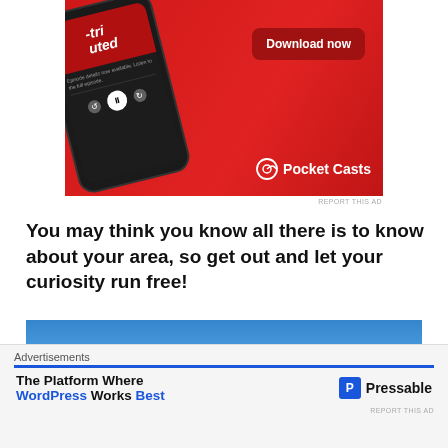[Figure (photo): Pocket Casts advertisement showing a smartphone on a red background with a 'Download now' button and Pocket Casts logo]
REPORT THIS AD
You may think you know all there is to know about your area, so get out and let your curiosity run free!
[Figure (photo): Blue sky with white clouds near the bottom]
[Figure (screenshot): Bottom advertisement banner reading 'The Platform Where WordPress Works Best' with Pressable logo]
REPORT THIS AD